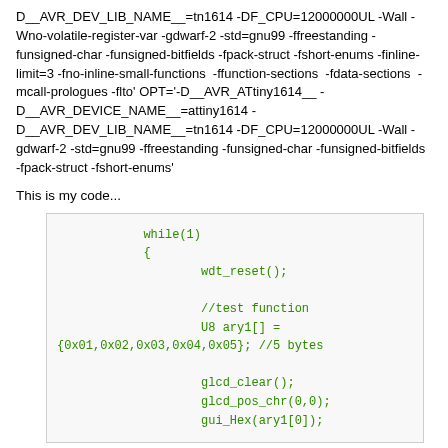D__AVR_DEV_LIB_NAME__=tn1614 -DF_CPU=12000000UL -Wall -Wno-volatile-register-var -gdwarf-2 -std=gnu99 -ffreestanding -funsigned-char -funsigned-bitfields -fpack-struct -fshort-enums -finline-limit=3 -fno-inline-small-functions -ffunction-sections -fdata-sections -mcall-prologues -flto' OPT='-D__AVR_ATtiny1614__ -D__AVR_DEVICE_NAME__=attiny1614 -D__AVR_DEV_LIB_NAME__=tn1614 -DF_CPU=12000000UL -Wall -gdwarf-2 -std=gnu99 -ffreestanding -funsigned-char -funsigned-bitfields -fpack-struct -fshort-enums'
This is my code...
[Figure (screenshot): Code snippet in a light gray box showing a while(1) loop with wdt_reset(), a U8 array declaration, glcd_clear(), glcd_pos_chr(0,0), and gui_Hex(ary1[0]) calls, displayed in green monospace font.]